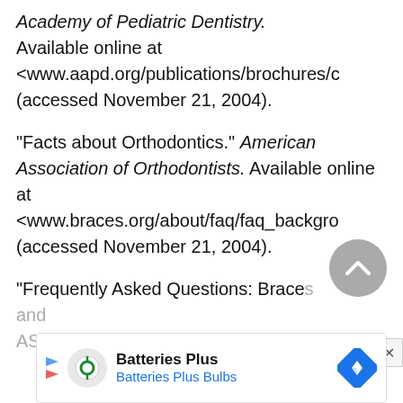Academy of Pediatric Dentistry. Available online at <www.aapd.org/publications/brochures/c> (accessed November 21, 2004).
"Facts about Orthodontics." American Association of Orthodontists. Available online at <www.braces.org/about/faq/faq_backgro> (accessed November 21, 2004).
"Frequently Asked Questions: Braces and...